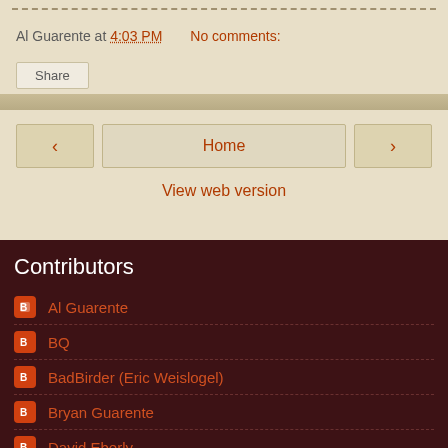Al Guarente at 4:03 PM   No comments:
Share
Home
View web version
Contributors
Al Guarente
BQ
BadBirder (Eric Weislogel)
Bryan Guarente
David Eberly
Holly